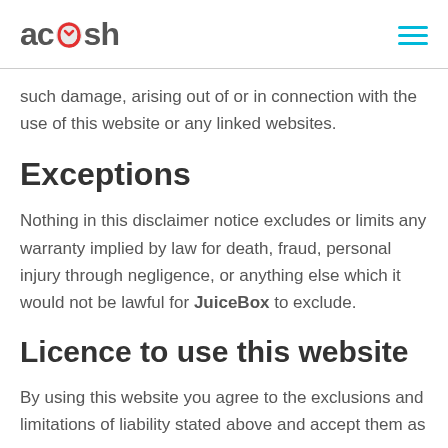acosh
such damage, arising out of or in connection with the use of this website or any linked websites.
Exceptions
Nothing in this disclaimer notice excludes or limits any warranty implied by law for death, fraud, personal injury through negligence, or anything else which it would not be lawful for JuiceBox to exclude.
Licence to use this website
By using this website you agree to the exclusions and limitations of liability stated above and accept them as